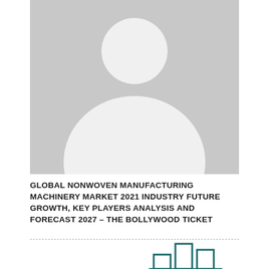[Figure (illustration): Generic placeholder person silhouette (head and shoulders) on a gray background]
GLOBAL NONWOVEN MANUFACTURING MACHINERY MARKET 2021 INDUSTRY FUTURE GROWTH, KEY PLAYERS ANALYSIS AND FORECAST 2027 – THE BOLLYWOOD TICKET
[Figure (illustration): Partial bar chart icon with teal/dark green colored bars, partially cropped at bottom of page]